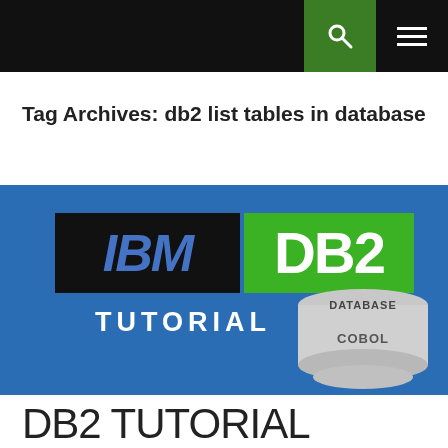Tag Archives: db2 list tables in database
[Figure (screenshot): IBM DB2 Tutorial banner image on a blue background. Shows IBM logo in black box with blue italic letters, DB2 in green box with white letters, TUTORIAL text below in white, and a DATABASE/COBOL cylinder graphic on the right.]
DB2 TUTORIAL